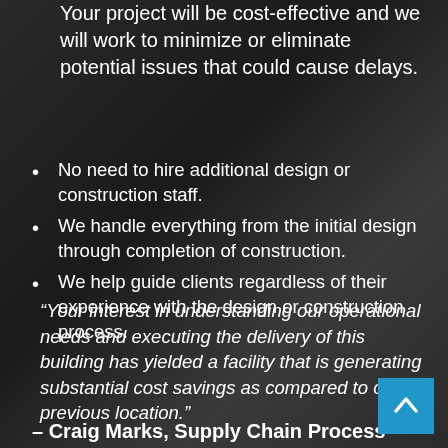Your project will be cost-effective and we will work to minimize or eliminate potential issues that could cause delays.
No need to hire additional design or construction staff.
We handle everything from the initial design through completion of construction.
We help guide clients regardless of their experience with the design or construction process.
“Your interest in understanding our operational needs and executing the delivery of this building has yielded a facility that is generating substantial cost savings as compared to our previous location.”
– Craig Marks, Supply Chain Process Manager